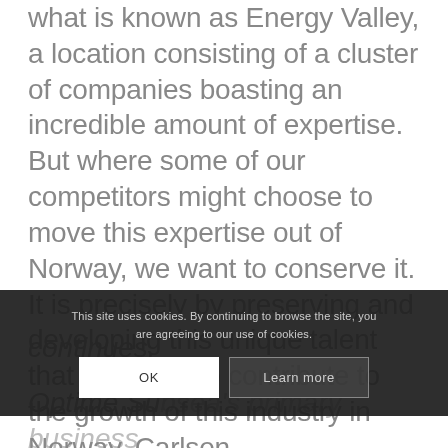what is known as Energy Valley, a location consisting of a cluster of companies boasting an incredible amount of expertise. But where some of our competitors might choose to move this expertise out of Norway, we want to conserve it. It is precisely by preserving and developing this unique talent that we will also contribute to the growth of this industry in Norway, Carlsen continues.
This site uses cookies. By continuing to browse the site, you are agreeing to our use of cookies.
Optime Subsea's primary business consists of services related to the maintenance of subsea offshore